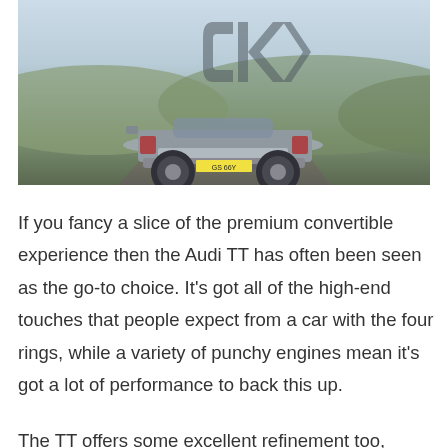[Figure (photo): Rear three-quarter view of a silver Audi TT Roadster convertible driving on a road through open countryside with rolling hills. A stylized 'CK' logo watermark is overlaid in the upper center of the image.]
If you fancy a slice of the premium convertible experience then the Audi TT has often been seen as the go-to choice. It's got all of the high-end touches that people expect from a car with the four rings, while a variety of punchy engines mean it's got a lot of performance to back this up.
The TT offers some excellent refinement too, feeling